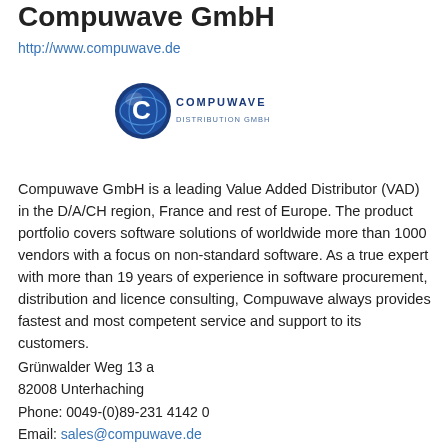Compuwave GmbH
http://www.compuwave.de
[Figure (logo): Compuwave logo: circular blue emblem with letter C and globe motif, followed by bold text 'COMPUWAVE' in blue metallic style]
Compuwave GmbH is a leading Value Added Distributor (VAD) in the D/A/CH region, France and rest of Europe. The product portfolio covers software solutions of worldwide more than 1000 vendors with a focus on non-standard software. As a true expert with more than 19 years of experience in software procurement, distribution and licence consulting, Compuwave always provides fastest and most competent service and support to its customers.
Grünwalder Weg 13 a
82008 Unterhaching
Phone: 0049-(0)89-231 4142 0
Email: sales@compuwave.de